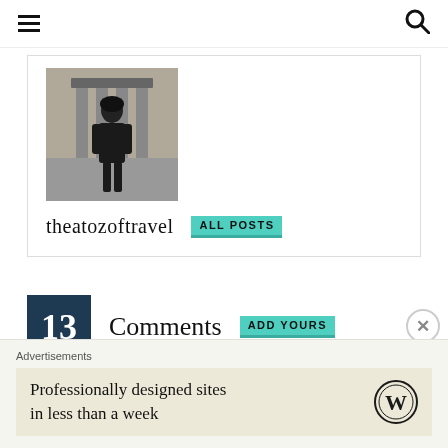≡  🔍
[Figure (photo): Black and white photo of a woman standing in front of ancient columned ruins (Petra, Jordan)]
theatozoftravel   ALL POSTS
13 Comments  ADD YOURS
Advertisements
Professionally designed sites in less than a week